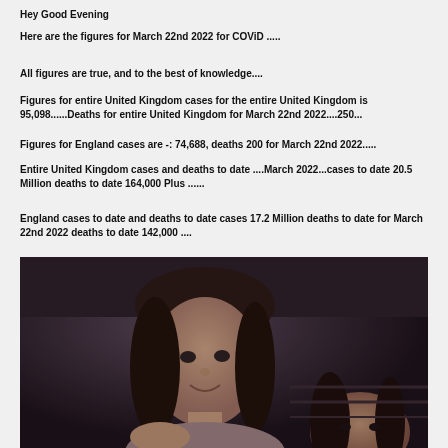Hey Good Evening
Here are the figures for March 22nd 2022 for COViD .....
All figures are true, and to the best of knowledge....
Figures for entire United Kingdom cases for the entire United Kingdom is 95,098......Deaths for entire United Kingdom for March 22nd 2022....250...
Figures for England cases are -: 74,688, deaths 200 for March 22nd 2022.....
Entire United Kingdom cases and deaths to date ....March 2022...cases to date 20.5 Million deaths to date 164,000 Plus ......
England cases to date and deaths to date cases 17.2 Million deaths to date for March 22nd 2022 deaths to date 142,000 ....
[Figure (photo): A dark indoor photo showing a young girl with long dark hair smiling, and another person partially visible in the lower right.]